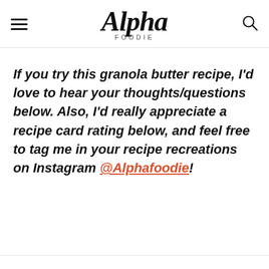Alpha Foodie
If you try this granola butter recipe, I'd love to hear your thoughts/questions below. Also, I'd really appreciate a recipe card rating below, and feel free to tag me in your recipe recreations on Instagram @Alphafoodie!